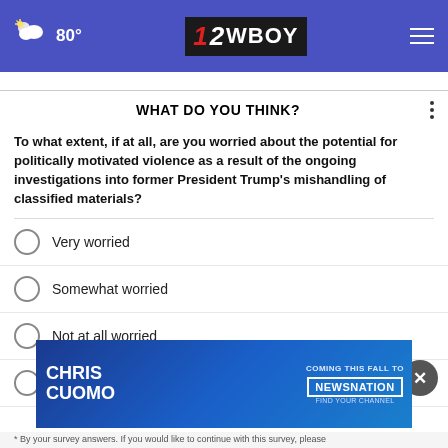80° | 12 WBOY
WHAT DO YOU THINK?
To what extent, if at all, are you worried about the potential for politically motivated violence as a result of the ongoing investigations into former President Trump's mishandling of classified materials?
Very worried
Somewhat worried
Not at all worried
Other / No opinion
[Figure (screenshot): Chris Cuomo Coming This Fall to NewsNation advertisement banner]
* By your survey answers. If you would like to continue with this survey, please